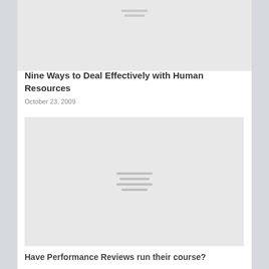[Figure (illustration): Gray placeholder image at top of page with horizontal placeholder lines in center]
Nine Ways to Deal Effectively with Human Resources
October 23, 2009
[Figure (illustration): Gray placeholder image with horizontal placeholder lines in center]
Have Performance Reviews run their course?